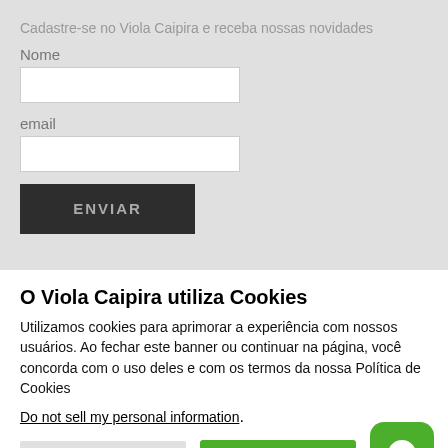Cadastre-se no Viola Caipira e receba nossas novidades
Nome
email
ENVIAR
O Viola Caipira utiliza Cookies
Utilizamos cookies para aprimorar a experiência com nossos usuários. Ao fechar este banner ou continuar na página, você concorda com o uso deles e com os termos da nossa Política de Cookies
Do not sell my personal information.
Cookie Settings
Aceito
[Figure (logo): WhatsApp green icon with phone handset symbol]